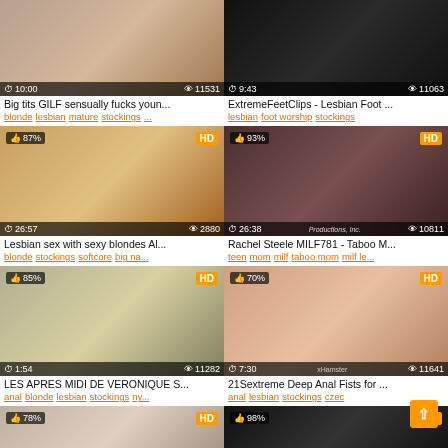[Figure (screenshot): Video thumbnail grid of adult content listings with 2 columns and 4 visible rows, each showing a thumbnail image with duration, view count, title, and tags]
Big tits GILF sensually fucks youn...
blonde lesbian mature stockings...
ExtremeFeetClips - Lesbian Foot ...
lesbian foot worship stockings
Lesbian sex with sexy blondes Al...
blonde stockings softcore big na...
Rachel Steele MILF781 - Taboo M...
teen mom milf taboo mom milf le...
LES APRES MIDI DE VERONIQUE S...
anal blonde lesbian stockings ny...
21Sextreme Deep Anal Fists for ...
anal lesbian stockings czech...